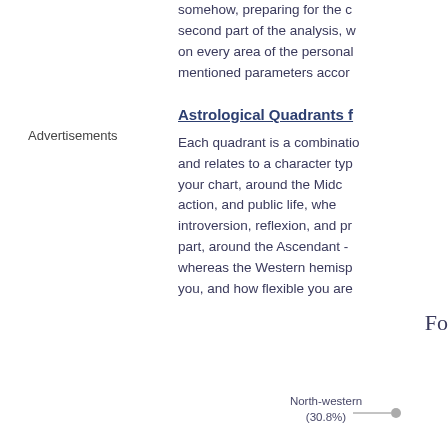somehow, preparing for the second part of the analysis, w on every area of the personal mentioned parameters accor
Advertisements
Astrological Quadrants f
Each quadrant is a combinatio and relates to a character typ your chart, around the Midc action, and public life, whe introversion, reflexion, and pr part, around the Ascendant - whereas the Western hemisp you, and how flexible you are
Fo
[Figure (pie-chart): Partial pie chart showing North-western (30.8%) slice with a dot marker]